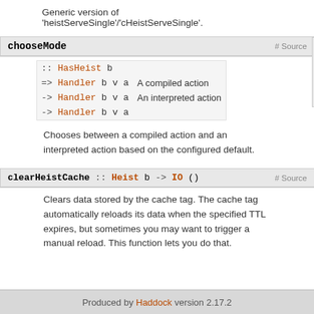Generic version of 'heistServeSingle'/'cHeistServeSingle'.
chooseMode   # Source
:: HasHeist b
=> Handler b v a   A compiled action
-> Handler b v a   An interpreted action
-> Handler b v a
Chooses between a compiled action and an interpreted action based on the configured default.
clearHeistCache :: Heist b -> IO ()   # Source
Clears data stored by the cache tag. The cache tag automatically reloads its data when the specified TTL expires, but sometimes you may want to trigger a manual reload. This function lets you do that.
Produced by Haddock version 2.17.2